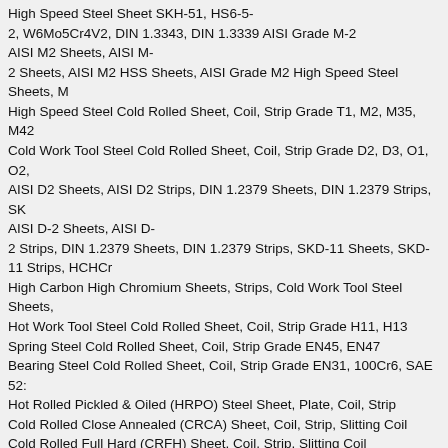High Speed Steel Sheet SKH-51, HS6-5-2, W6Mo5Cr4V2, DIN 1.3343, DIN 1.3339 AISI Grade M-2 AISI M2 Sheets, AISI M-2 Sheets, AISI M2 HSS Sheets, AISI Grade M2 High Speed Steel Sheets, High Speed Steel Cold Rolled Sheet, Coil, Strip Grade T1, M2, M35, M42 Cold Work Tool Steel Cold Rolled Sheet, Coil, Strip Grade D2, D3, O1, O2, AISI D2 Sheets, AISI D2 Strips, DIN 1.2379 Sheets, DIN 1.2379 Strips, SK AISI D-2 Sheets, AISI D-2 Strips, DIN 1.2379 Sheets, DIN 1.2379 Strips, SKD-11 Sheets, SKD-11 Strips, HCHCr High Carbon High Chromium Sheets, Strips, Cold Work Tool Steel Sheets, Hot Work Tool Steel Cold Rolled Sheet, Coil, Strip Grade H11, H13 Spring Steel Cold Rolled Sheet, Coil, Strip Grade EN45, EN47 Bearing Steel Cold Rolled Sheet, Coil, Strip Grade EN31, 100Cr6, SAE 52 Hot Rolled Pickled & Oiled (HRPO) Steel Sheet, Plate, Coil, Strip Cold Rolled Close Annealed (CRCA) Sheet, Coil, Strip, Slitting Coil Cold Rolled Full Hard (CRFH) Sheet, Coil, Strip, Slitting Coil CNC Plasma Cutting Sheet & Plate Profile, Shape as per Drawing & Speci ASTM A36, IS2062 Grade A, IS2062 Grade B, SS400, S235JR, S275JR IS-2062 E 250 A (Fe 410W A), E 250 B (Fe 410W B), E 300 (Fe 440), E 350 ( IS2062 E-250A (Fe-410W A), E-250B (Fe-410W B), E-300 (Fe-440), E-350 (Fe-490), E-410 (Fe-540), E-450 (Fe-570) IS-2062 E-250A, IS-2062 E-250B, IS-2062 E-250C, IS-2062 E-250Cu Copper Bearing, Cu-Bearing Steel IS-2062 E-410, IS-2062 E-450D, IS-2062 E-450E, Copper Bearing Structural Steel for Corrosion Resistant ASTM A786 Hot Rolled Carbon Steel, Low Alloy Steel, High Strength Steel JIS G3134 SPFH 490, SPFH 540, SPFH 590 Hot Rolled High Strength Ste JIS -